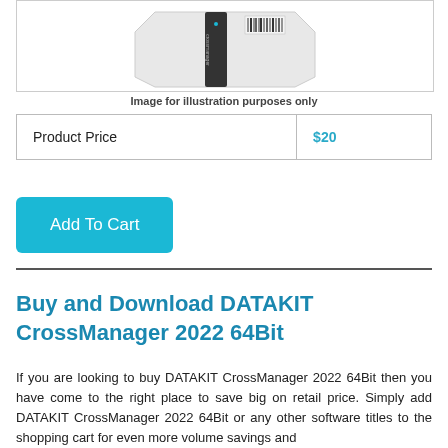[Figure (photo): NAS device product photo - white/grey enclosure with black accent strip on a white background]
Image for illustration purposes only
| Product Price | $20 |
Add To Cart
Buy and Download DATAKIT CrossManager 2022 64Bit
If you are looking to buy DATAKIT CrossManager 2022 64Bit then you have come to the right place to save big on retail price. Simply add DATAKIT CrossManager 2022 64Bit or any other software titles to the shopping cart for even more volume savings and